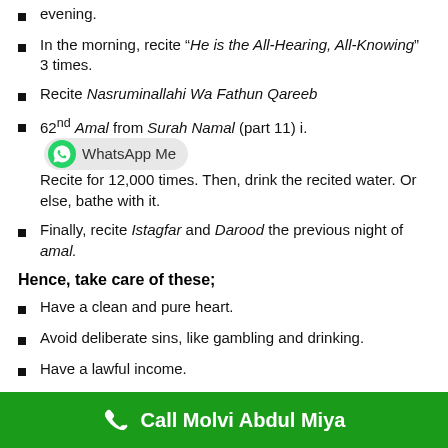evening.
In the morning, recite “He is the All-Hearing, All-Knowing” 3 times.
Recite Nasruminallahi Wa Fathun Qareeb
62nd Amal from Surah Namal (part 11) i. [WhatsApp Me] Recite for 12,000 times. Then, drink the recited water. Or else, bathe with it.
Finally, recite Istagfar and Darood the previous night of amal.
Hence, take care of these;
Have a clean and pure heart.
Avoid deliberate sins, like gambling and drinking.
Have a lawful income.
Repent before Allah.
The entire family should pray for five times.
Call Molvi Abdul Miya